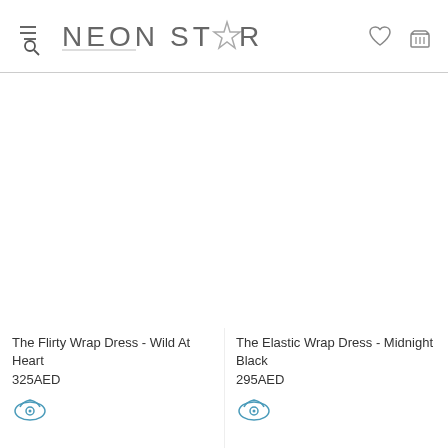[Figure (logo): Neon Star brand logo with hamburger menu and search icon on left, heart and cart icons on right]
The Flirty Wrap Dress - Wild At Heart
325AED
The Elastic Wrap Dress - Midnight Black
295AED